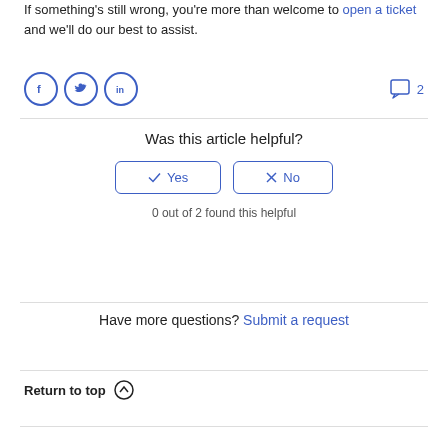If something's still wrong, you're more than welcome to open a ticket and we'll do our best to assist.
[Figure (infographic): Social media share icons (Facebook, Twitter, LinkedIn) and a comment bubble with count 2]
Was this article helpful?
Yes  No
0 out of 2 found this helpful
Have more questions? Submit a request
Return to top ↑